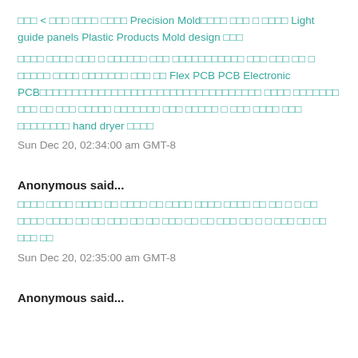□□□ < □□□ □□□□ □□□□ Precision Mold□□□□ □□□ □ □□□□ Light guide panels Plastic Products Mold design □□□
□□□□ □□□□ □□□ □ □□□□□□ □□□ □□□□□□□□□□□ □□□ □□□ □□ □ □□□□□ □□□□ □□□□□□□ □□□ □□ Flex PCB PCB Electronic PCB□□□□□□□□□□□□□□□□□□□□□□□□□□□□□□□□□□ □□□□ □□□□□□□ □□□ □□ □□□ □□□□□ □□□□□□□ □□□ □□□□□ □ □□□ □□□□ □□□ □□□□□□□□ hand dryer □□□□
Sun Dec 20, 02:34:00 am GMT-8
Anonymous said...
□□□□ □□□□ □□□□ □□ □□□□ □□ □□□□ □□□□ □□□□ □□ □□ □ □ □□ □□□□ □□□□ □□ □□ □□□ □□ □□ □□□ □□ □□ □□□ □□ □ □ □□□ □□ □□ □□□ □□
Sun Dec 20, 02:35:00 am GMT-8
Anonymous said...